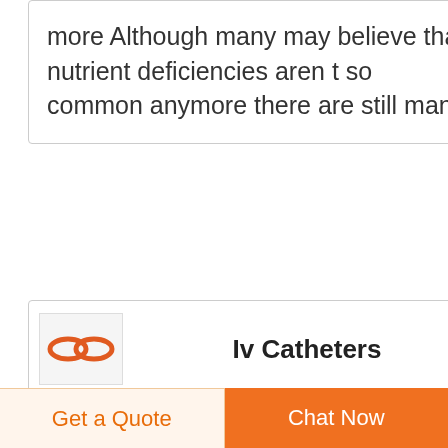more Although many may believe that nutrient deficiencies aren t so common anymore there are still many
[Figure (logo): Orange chain-link style logo mark]
Iv Catheters
SuppliersReliable Iv Catheters Suppliers
Iv Catheters Suppliers DirectoryChoose Quality Verified Iv Catheters Suppliers and Manufacturers Wholesale Iv Catheters Sellers and Exporters at Alibaba
Get a Quote   Chat Now